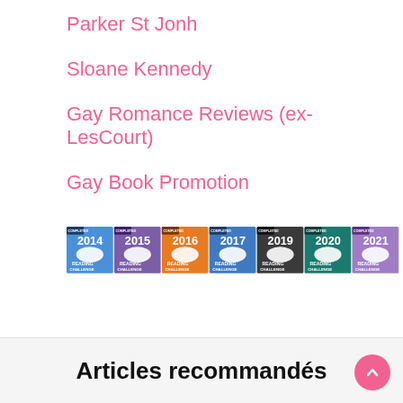Parker St Jonh
Sloane Kennedy
Gay Romance Reviews (ex- LesCourt)
Gay Book Promotion
[Figure (infographic): Seven Goodreads Reading Challenge completed badges for years 2014 (blue), 2015 (purple), 2016 (orange), 2017 (blue), 2019 (dark gray), 2020 (teal), 2021 (light purple), each showing an open book icon and text READING CHALLENGE with COMPLETED banner.]
Articles recommandés